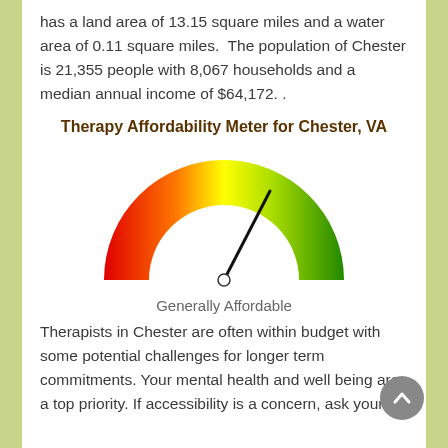has a land area of 13.15 square miles and a water area of 0.11 square miles.  The population of Chester is 21,355 people with 8,067 households and a median annual income of $64,172. .
Therapy Affordability Meter for Chester, VA
[Figure (other): Gauge/speedometer meter showing 'Generally Affordable' with needle pointing to the green-yellow region. Meter arc is colored red on left through orange, yellow, and green on right.]
Generally Affordable
Therapists in Chester are often within budget with some potential challenges for longer term commitments. Your mental health and well being are a top priority. If accessibility is a concern, ask your